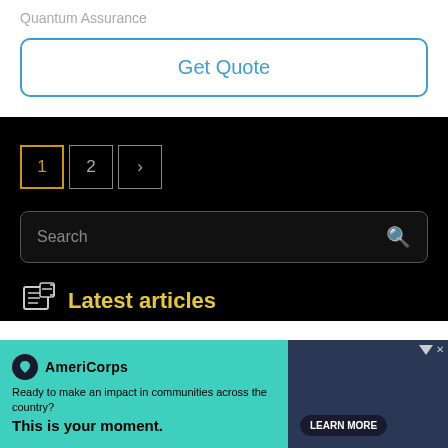Quantum Assurance
Get Quote
1  2  >
Search
Latest articles
[Figure (screenshot): AmeriCorps advertisement banner with teal background. Includes AmeriCorps logo, text reading 'Ready to make an impact in communities across the country? This is your moment.' and a LEARN MORE button.]